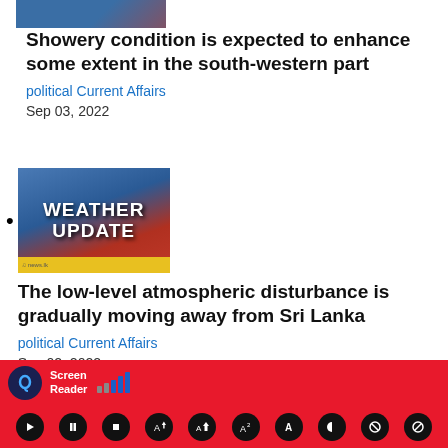[Figure (screenshot): Thumbnail image for weather update news article at top (partially visible)]
Showery condition is expected to enhance some extent in the south-western part
political Current Affairs
Sep 03, 2022
[Figure (screenshot): Weather Update thumbnail image showing 'WEATHER UPDATE' text on blue and red background with news.lk logo]
The low-level atmospheric disturbance is gradually moving away from Sri Lanka
political Current Affairs
Sep 02, 2022
[Figure (screenshot): Meeting/conference room thumbnail image (partially visible at bottom)]
[Figure (screenshot): Screen Reader accessibility toolbar at bottom with audio controls]